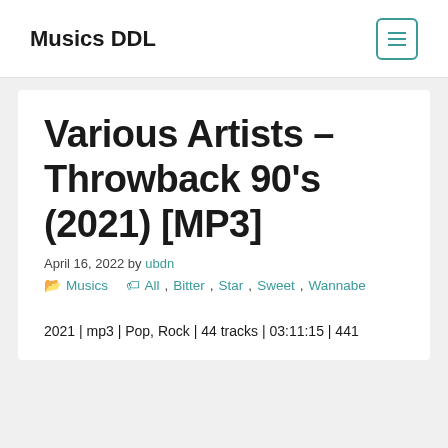Musics DDL
Various Artists – Throwback 90's (2021) [MP3]
April 16, 2022 by ubdn
Musics  All, Bitter, Star, Sweet, Wannabe
2021 | mp3 | Pop, Rock | 44 tracks | 03:11:15 | 441